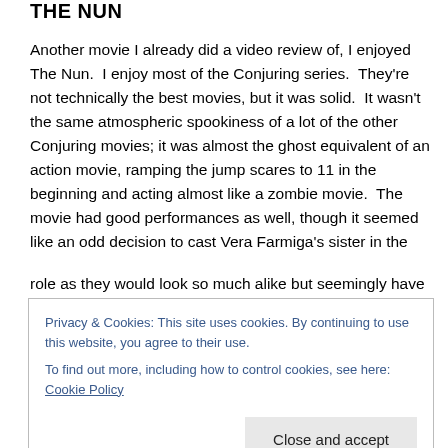THE NUN
Another movie I already did a video review of, I enjoyed The Nun.  I enjoy most of the Conjuring series.  They're not technically the best movies, but it was solid.  It wasn't the same atmospheric spookiness of a lot of the other Conjuring movies; it was almost the ghost equivalent of an action movie, ramping the jump scares to 11 in the beginning and acting almost like a zombie movie.  The movie had good performances as well, though it seemed like an odd decision to cast Vera Farmiga's sister in the role as they would look so much alike but seemingly have
Privacy & Cookies: This site uses cookies. By continuing to use this website, you agree to their use.
To find out more, including how to control cookies, see here: Cookie Policy
as well.